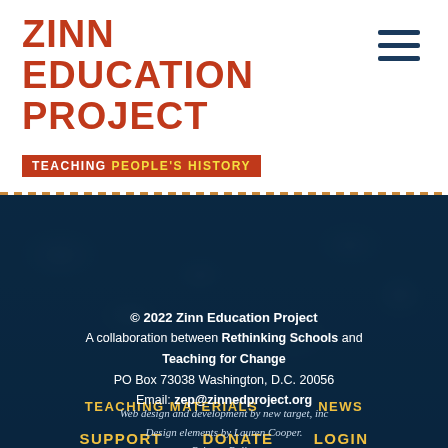ZINN EDUCATION PROJECT
TEACHING PEOPLE'S HISTORY
[Figure (screenshot): Navigation menu overlay on dark crowd background with gold text links: TEACHING MATERIALS, NEWS, SUPPORT, DONATE, LOGIN, REGISTER, CONTACT]
© 2022 Zinn Education Project
A collaboration between Rethinking Schools and Teaching for Change
PO Box 73038 Washington, D.C. 20056
Email: zep@zinnedproject.org
Web design and development by new target, inc
Design elements by Lauren Cooper.
Privacy Policy